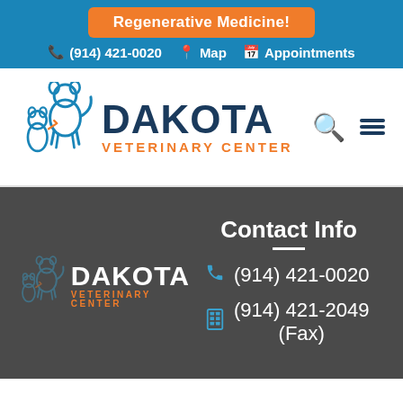Regenerative Medicine!
☎ (914) 421-0020  📍 Map  📅 Appointments
[Figure (logo): Dakota Veterinary Center logo with dog and cat illustration, dark blue DAKOTA text and orange VETERINARY CENTER text]
🔍  ☰
[Figure (logo): Dakota Veterinary Center logo (footer version, white and orange on dark background)]
Contact Info
(914) 421-0020
(914) 421-2049 (Fax)